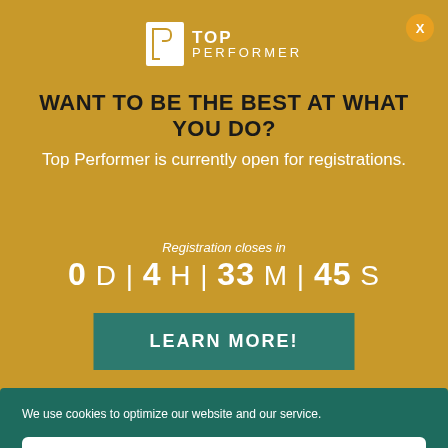[Figure (logo): Top Performer logo with white P icon and text TOP PERFORMER]
WANT TO BE THE BEST AT WHAT YOU DO?
Top Performer is currently open for registrations.
Registration closes in 0 D | 4 H | 33 M | 45 S
LEARN MORE!
We use cookies to optimize our website and our service.
Accept
Cookie Policy   Privacy Policy